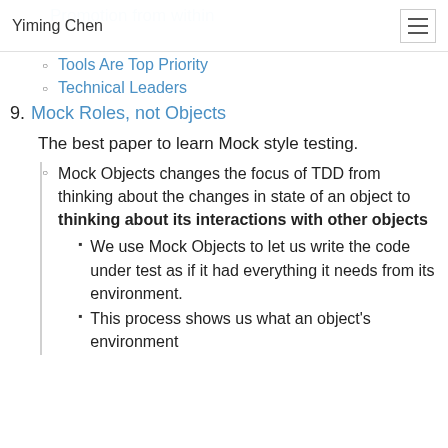Yiming Chen
Tools Are Top Priority
Technical Leaders
9. Mock Roles, not Objects
The best paper to learn Mock style testing.
Mock Objects changes the focus of TDD from thinking about the changes in state of an object to thinking about its interactions with other objects
We use Mock Objects to let us write the code under test as if it had everything it needs from its environment.
This process shows us what an object's environment